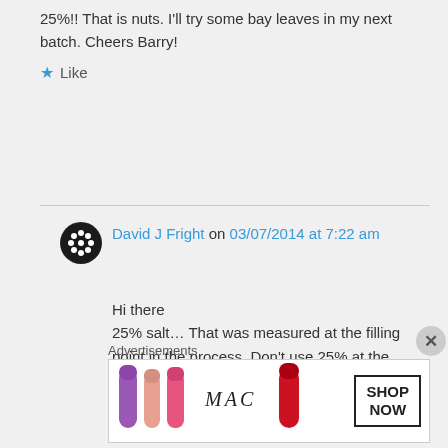25%!! That is nuts. I'll try some bay leaves in my next batch. Cheers Barry!
Like
David J Fright on 03/07/2014 at 7:22 am
Hi there
25% salt… That was measured at the filling point in the process. Don't use 25% at the ingredient stage.
Advertisements
[Figure (photo): MAC cosmetics advertisement showing lipsticks with SHOP NOW button]